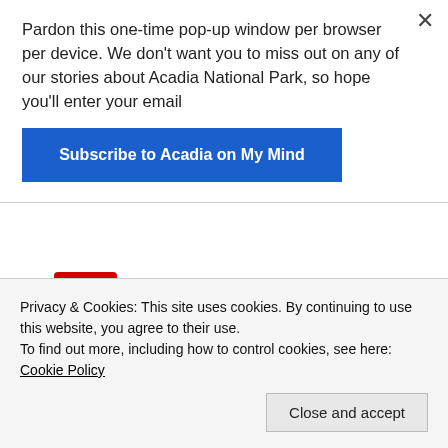Pardon this one-time pop-up window per browser per device. We don't want you to miss out on any of our stories about Acadia National Park, so hope you'll enter your email
Subscribe to Acadia on My Mind
[Figure (logo): YouTube logo with 'You' in black bold text and 'Tube' in white text on red rounded rectangle background]
Acadia on My Mind channel
Privacy & Cookies: This site uses cookies. By continuing to use this website, you agree to their use.
To find out more, including how to control cookies, see here: Cookie Policy
Close and accept